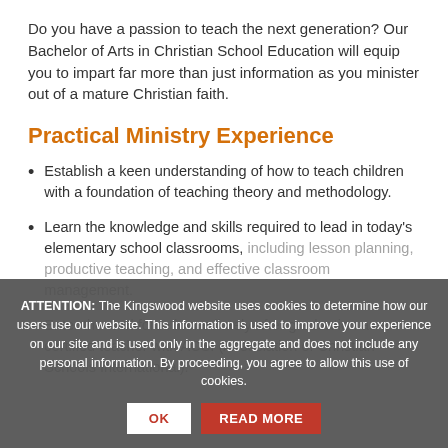Do you have a passion to teach the next generation? Our Bachelor of Arts in Christian School Education will equip you to impart far more than just information as you minister out of a mature Christian faith.
Practical Ministry Experience
Establish a keen understanding of how to teach children with a foundation of teaching theory and methodology.
Learn the knowledge and skills required to lead in today's elementary school classrooms, including lesson planning, productive teaching, and effective classroom management.
Enter the workforce immediately after graduation as a certified teacher with ACSI (Association of Christian Schools International).
ATTENTION: The Kingswood website uses cookies to determine how our users use our website. This information is used to improve your experience on our site and is used only in the aggregate and does not include any personal information. By proceeding, you agree to allow this use of cookies.